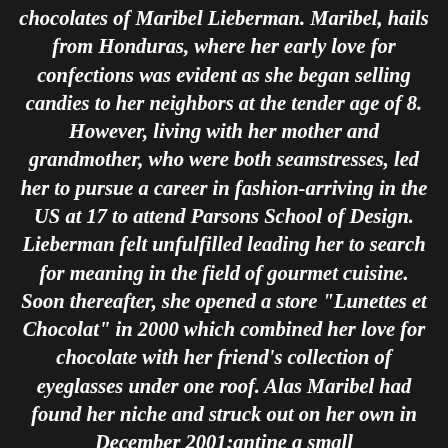chocolates of Maribel Lieberman. Maribel, hails from Honduras, where her early love for confections was evident as she began selling candies to her neighbors at the tender age of 8. However, living with her mother and grandmother, who were both seamstresses, led her to pursue a career in fashion-arriving in the US at 17 to attend Parsons School of Design. Lieberman felt unfulfilled leading her to search for meaning in the field of gourmet cuisine. Soon thereafter, she opened a store "Lunettes et Chocolat" in 2000 which combined her love for chocolate with her friend's collection of eyeglasses under one roof. Alas Maribel had found her niche and struck out on her own in December 2001;antine a small